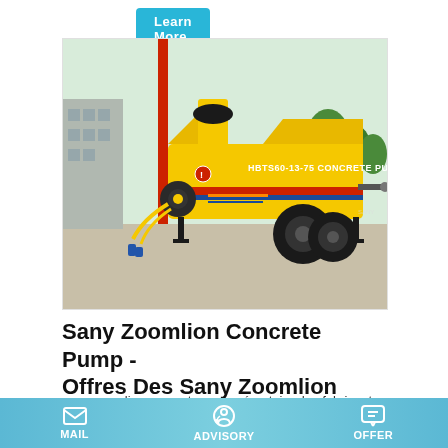Learn More
[Figure (photo): Yellow HBTS60-13-75 concrete pump trailer on a construction site. The machine is yellow with red and blue stripes, showing the pump body, hopper, wheels, and outriggers. Text on the machine reads 'HBTS60-13-75 CONCRETE PUMP'.]
Sany Zoomlion Concrete Pump - Offres Des Sany Zoomlion
sany zoomlion concrete pump répertoire des fabricants ☆
MAIL   ADVISORY   OFFER